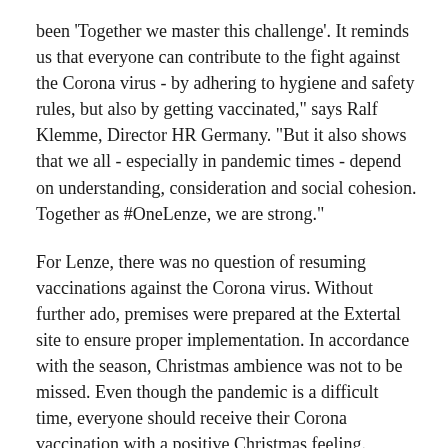been 'Together we master this challenge'. It reminds us that everyone can contribute to the fight against the Corona virus - by adhering to hygiene and safety rules, but also by getting vaccinated," says Ralf Klemme, Director HR Germany. "But it also shows that we all - especially in pandemic times - depend on understanding, consideration and social cohesion. Together as #OneLenze, we are strong."
For Lenze, there was no question of resuming vaccinations against the Corona virus. Without further ado, premises were prepared at the Extertal site to ensure proper implementation. In accordance with the season, Christmas ambience was not to be missed. Even though the pandemic is a difficult time, everyone should receive their Corona vaccination with a positive Christmas feeling.
Over the summer months, Lenze had already called on its workforce to be vaccinated. In a vaccination center set up